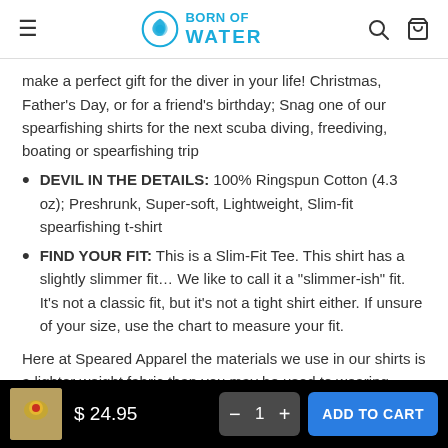Born of Water
make a perfect gift for the diver in your life! Christmas, Father’s Day, or for a friend’s birthday; Snag one of our spearfishing shirts for the next scuba diving, freediving, boating or spearfishing trip
DEVIL IN THE DETAILS: 100% Ringspun Cotton (4.3 oz); Preshrunk, Super-soft, Lightweight, Slim-fit spearfishing t-shirt
FIND YOUR FIT: This is a Slim-Fit Tee. This shirt has a slightly slimmer fit… We like to call it a “slimmer-ish” fit. It’s not a classic fit, but it’s not a tight shirt either. If unsure of your size, use the chart to measure your fit.
Here at Speared Apparel the materials we use in our shirts is a lighter weight fabric than you may be used to wearing, however, that does
$ 24.95   1   ADD TO CART